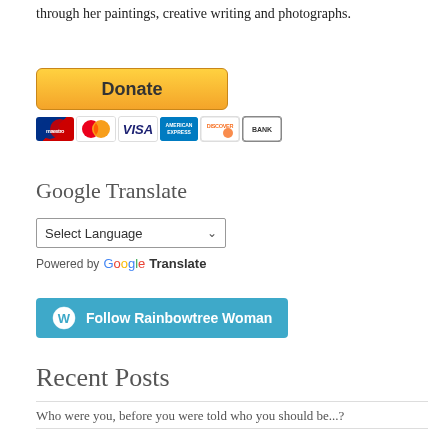through her paintings, creative writing and photographs.
[Figure (screenshot): PayPal Donate button with payment card icons below (Maestro, MasterCard, Visa, American Express, Discover, Bank)]
Google Translate
Select Language dropdown with chevron arrow, followed by 'Powered by Google Translate'
[Figure (screenshot): Follow Rainbowtree Woman button with WordPress logo icon, teal/blue background]
Recent Posts
Who were you, before you were told who you should be...?